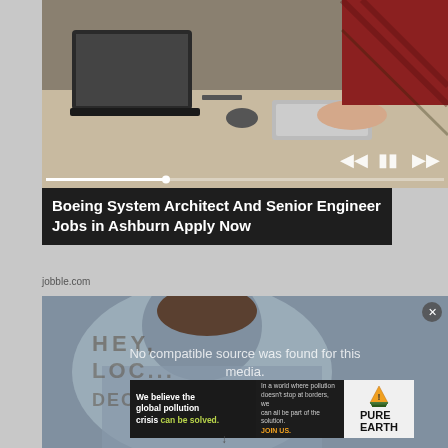[Figure (photo): Photo of office workers at desks with laptops and keyboards, viewed from above. White media playback controls visible at bottom right.]
Boeing System Architect And Senior Engineer Jobs in Ashburn Apply Now
jobble.com
[Figure (screenshot): Video player showing a man in a blue/grey shirt hunched over, with overlay text: No compatible source was found for this media. Close button (x) visible top right.]
[Figure (infographic): Pure Earth advertisement banner. Left: 'We believe the global pollution crisis can be solved.' Middle: 'In a world where pollution doesn't stop at borders, we can all be part of the solution. JOIN US.' Right: Pure Earth logo with diamond/layers icon.]